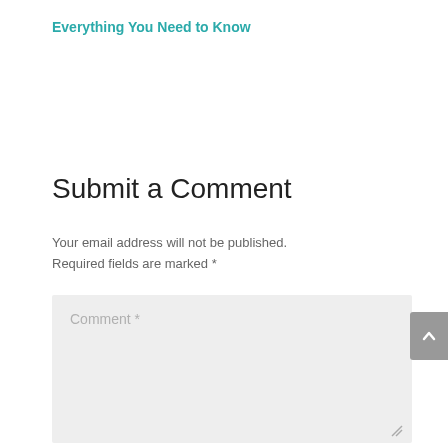Everything You Need to Know
Submit a Comment
Your email address will not be published. Required fields are marked *
Comment *